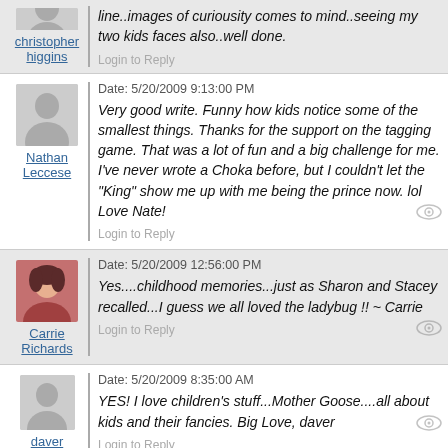christopher higgins
line..images of curiousity comes to mind..seeing my two kids faces also..well done.
Login to Reply
Nathan Leccese
Date: 5/20/2009 9:13:00 PM
Very good write. Funny how kids notice some of the smallest things. Thanks for the support on the tagging game. That was a lot of fun and a big challenge for me. I've never wrote a Choka before, but I couldn't let the "King" show me up with me being the prince now. lol Love Nate!
Login to Reply
Carrie Richards
Date: 5/20/2009 12:56:00 PM
Yes....childhood memories...just as Sharon and Stacey recalled...I guess we all loved the ladybug !! ~ Carrie
Login to Reply
daver austin
Date: 5/20/2009 8:35:00 AM
YES! I love children's stuff...Mother Goose....all about kids and their fancies. Big Love, daver
Login to Reply